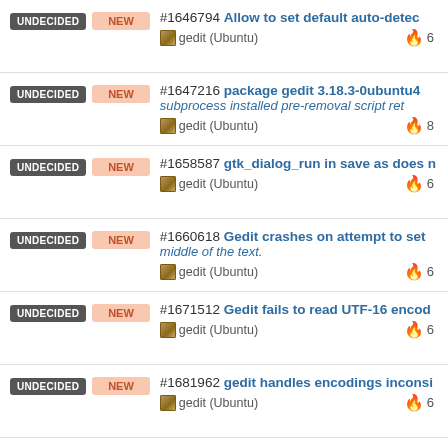#1646794 Allow to set default auto-detect gedit (Ubuntu) 🔥 6
#1647216 package gedit 3.18.3-0ubuntu4 subprocess installed pre-removal script ret gedit (Ubuntu) 🔥 8
#1658587 gtk_dialog_run in save as does n gedit (Ubuntu) 🔥 6
#1660618 Gedit crashes on attempt to set middle of the text. gedit (Ubuntu) 🔥 6
#1671512 Gedit fails to read UTF-16 encod gedit (Ubuntu) 🔥 6
#1681962 gedit handles encodings inconsi gedit (Ubuntu) 🔥 6
#1705647 File Open popover only shows h gedit (Ubuntu) 🔥 10
#1713170 File ▶ Open does not display the gedit (Ubuntu)